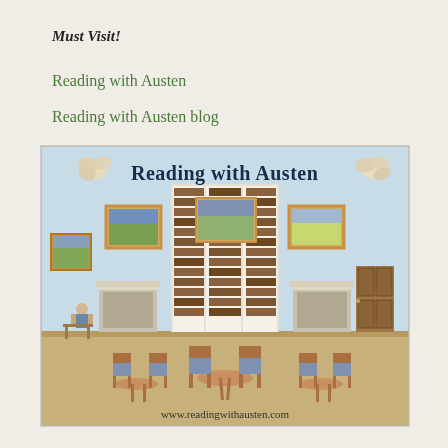Must Visit!
Reading with Austen
Reading with Austen blog
[Figure (illustration): Illustrated banner/logo for 'Reading with Austen' website showing a watercolor-style library room with bookshelves, fireplaces, paintings on walls, chairs and tables, a person reading at a desk, decorative floral motifs in corners, and the website URL www.readingwithausten.com at the bottom.]